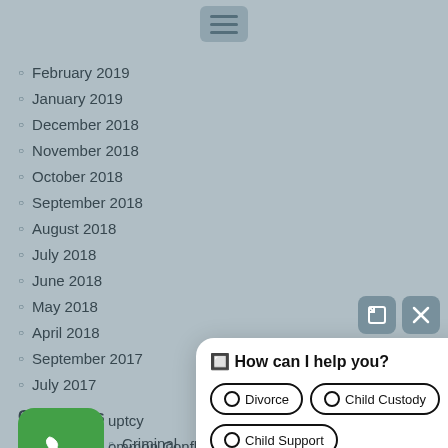[Figure (screenshot): Menu hamburger icon button at top center of page]
February 2019
January 2019
December 2018
November 2018
October 2018
September 2018
August 2018
July 2018
June 2018
May 2018
April 2018
September 2017
July 2017
[Figure (screenshot): Green phone call button icon (partially obscuring sidebar)]
…uptcy
…ommon Conflicts
Criminal
Family Law
General
New Laws
Personal Injury
Traffic
Uncategorized
[Figure (screenshot): Chatbot widget overlay with heading 'How can I help you?' and options: Divorce, Child Custody, Child Support, Restraining Order]